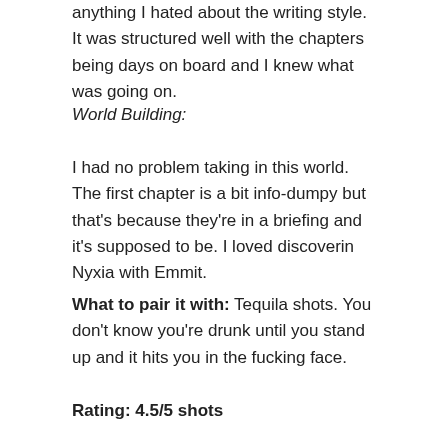anything I hated about the writing style. It was structured well with the chapters being days on board and I knew what was going on.
World Building:
I had no problem taking in this world. The first chapter is a bit info-dumpy but that's because they're in a briefing and it's supposed to be. I loved discoverin Nyxia with Emmit.
What to pair it with: Tequila shots. You don't know you're drunk until you stand up and it hits you in the fucking face.
Rating: 4.5/5 shots